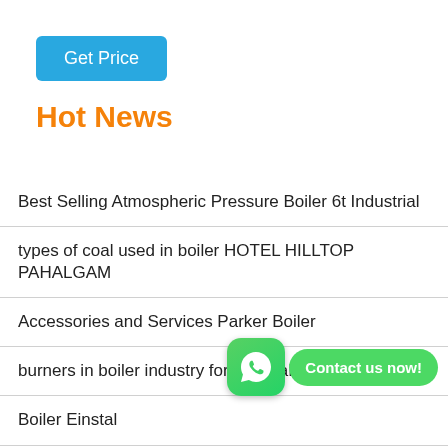[Figure (other): Blue 'Get Price' button]
Hot News
Best Selling Atmospheric Pressure Boiler 6t Industrial
types of coal used in boiler HOTEL HILLTOP PAHALGAM
Accessories and Services Parker Boiler
burners in boiler industry formbia Haigi Biomass
Boiler Einstal
firewood boiler Agents cambodia
Gasfired Thermal Oil Boiler Price Horizontal Gas Boiler